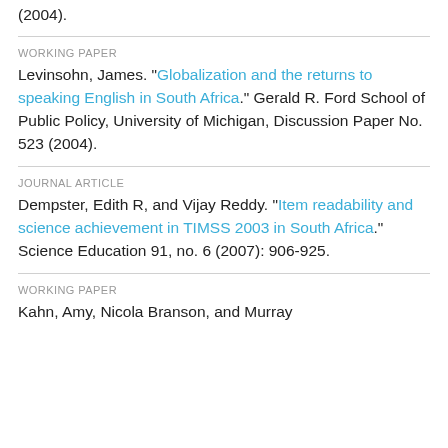(2004).
WORKING PAPER
Levinsohn, James. "Globalization and the returns to speaking English in South Africa." Gerald R. Ford School of Public Policy, University of Michigan, Discussion Paper No. 523 (2004).
JOURNAL ARTICLE
Dempster, Edith R, and Vijay Reddy. "Item readability and science achievement in TIMSS 2003 in South Africa." Science Education 91, no. 6 (2007): 906-925.
WORKING PAPER
Kahn, Amy, Nicola Branson, and Murray